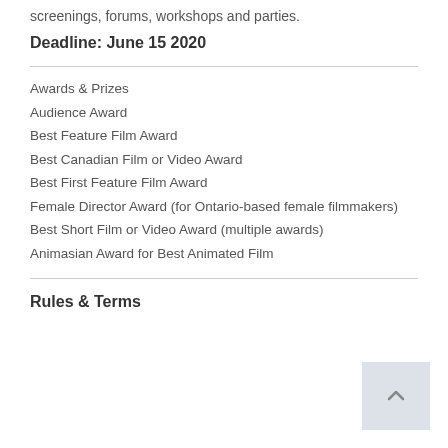screenings, forums, workshops and parties.
Deadline: June 15 2020
Awards & Prizes
Audience Award
Best Feature Film Award
Best Canadian Film or Video Award
Best First Feature Film Award
Female Director Award (for Ontario-based female filmmakers)
Best Short Film or Video Award (multiple awards)
Animasian Award for Best Animated Film
Rules & Terms